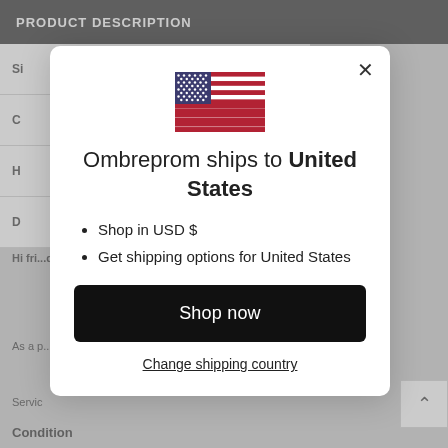PRODUCT DESCRIPTION
|  |
| --- |
| Si... |
| C... |
| H... |
| D... |
Hi fri... dress...
As a p... perfe...
Servic...
Condition
[Figure (screenshot): Modal dialog overlay showing 'Ombreprom ships to United States' with a US flag, bullet points for 'Shop in USD $' and 'Get shipping options for United States', a 'Shop now' button, and a 'Change shipping country' link. A close (X) button is in the top-right of the modal.]